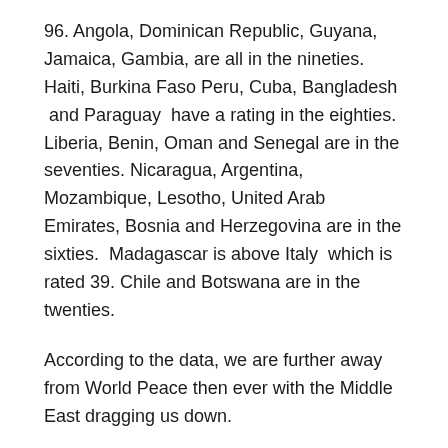96. Angola, Dominican Republic, Guyana, Jamaica, Gambia, are all in the nineties. Haiti, Burkina Faso Peru, Cuba, Bangladesh  and Paraguay  have a rating in the eighties. Liberia, Benin, Oman and Senegal are in the seventies. Nicaragua, Argentina, Mozambique, Lesotho, United Arab Emirates, Bosnia and Herzegovina are in the sixties.  Madagascar is above Italy  which is rated 39. Chile and Botswana are in the twenties.
According to the data, we are further away from World Peace then ever with the Middle East dragging us down.
The most peaceful countries continue to improve their rating while the least peaceful ones are getting worse. Violence and conflict are escalating.  The world continues to spend enormous resources on creating and containing violence but very little on peace.